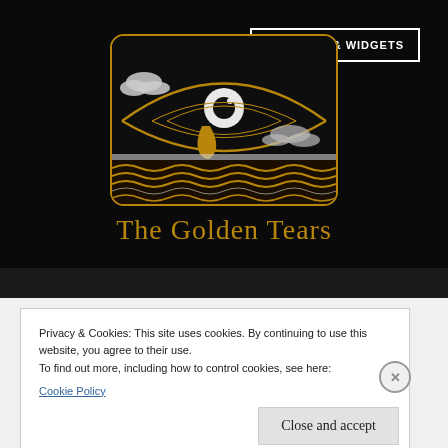[Figure (logo): The Golden Tears logo: a dark rounded rectangle with a stylized eye, teardrop, clouds, and wave patterns in gold and white on black background]
The Golden Tears
Privacy & Cookies: This site uses cookies. By continuing to use this website, you agree to their use.
To find out more, including how to control cookies, see here:
Cookie Policy
Close and accept